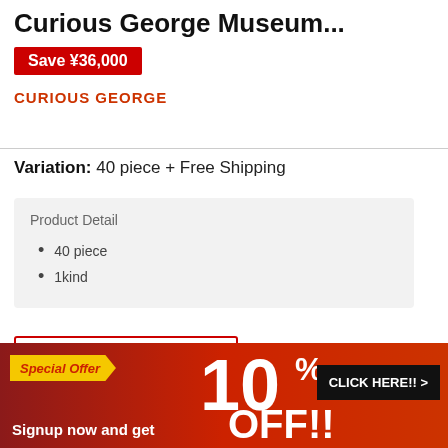Curious George Museum...
Save ¥36,000
CURIOUS GEORGE
Variation: 40 piece + Free Shipping
Product Detail
40 piece
1kind
This website uses cookies in order to offer you the best experience on our website.
[Figure (infographic): Special Offer banner: yellow chevron tab 'Special Offer', large white '10% OFF!!' text, 'Signup now and get' text, black 'CLICK HERE!! >' button, red gradient background]